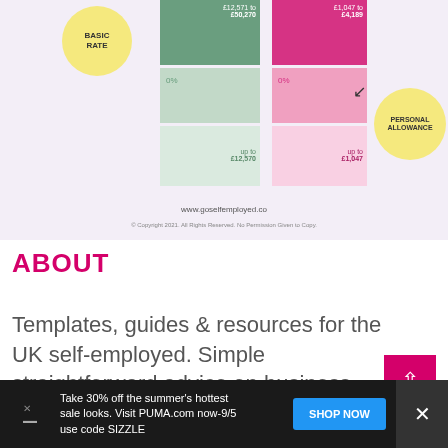[Figure (infographic): UK income tax and NI rate bands infographic showing Basic Rate (£12,571 to £50,270 for income tax), 0% band (up to £12,570), NI £1,047 to £4,189, 0% NI (up to £1,047), and Personal Allowance circle. Website: www.goselfemployed.co]
ABOUT
Templates, guides & resources for the UK self-employed. Simple straightforward advice on business registration, taxes & bookkeeping.
[Figure (other): Pink scroll-to-top button with upward arrow]
Take 30% off the summer's hottest sale looks. Visit PUMA.com now-9/5 use code SIZZLE
[Figure (other): SHOP NOW button and close X button in advertisement banner]